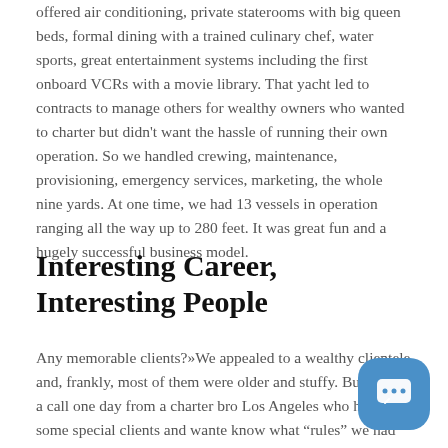offered air conditioning, private staterooms with big queen beds, formal dining with a trained culinary chef, water sports, great entertainment systems including the first onboard VCRs with a movie library. That yacht led to contracts to manage others for wealthy owners who wanted to charter but didn't want the hassle of running their own operation. So we handled crewing, maintenance, provisioning, emergency services, marketing, the whole nine yards. At one time, we had 13 vessels in operation ranging all the way up to 280 feet. It was great fun and a hugely successful business model.
Interesting Career, Interesting People
Any memorable clients?»We appealed to a wealthy clientele and, frankly, most of them were older and stuffy. But we got a call one day from a charter bro... Los Angeles who had some special clients and wante... know what "rules" we had on our charters. Rules? About all...
[Figure (other): Chat bubble icon — rounded square button with blue background and speech bubble with ellipsis icon]